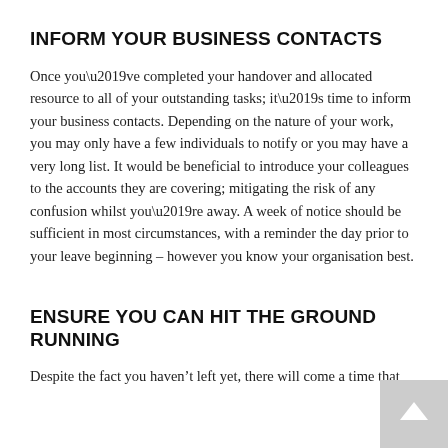INFORM YOUR BUSINESS CONTACTS
Once you’ve completed your handover and allocated resource to all of your outstanding tasks; it’s time to inform your business contacts. Depending on the nature of your work, you may only have a few individuals to notify or you may have a very long list. It would be beneficial to introduce your colleagues to the accounts they are covering; mitigating the risk of any confusion whilst you’re away. A week of notice should be sufficient in most circumstances, with a reminder the day prior to your leave beginning – however you know your organisation best.
ENSURE YOU CAN HIT THE GROUND RUNNING
Despite the fact you haven’t left yet, there will come a time that